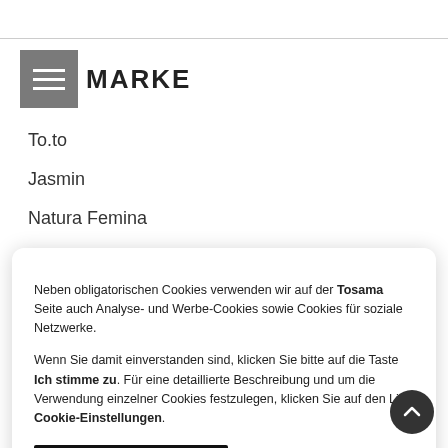MARKE
To.to
Jasmin
Natura Femina
PikaZoo
Neben obligatorischen Cookies verwenden wir auf der Tosama Seite auch Analyse- und Werbe-Cookies sowie Cookies für soziale Netzwerke. Wenn Sie damit einverstanden sind, klicken Sie bitte auf die Taste Ich stimme zu. Für eine detaillierte Beschreibung und um die Verwendung einzelner Cookies festzulegen, klicken Sie auf den Link Cookie-Einstellungen.
ICH STIMME ZU
COOKIE-EINSTELLUNGEN